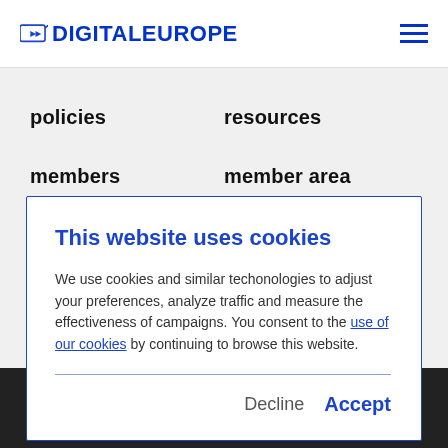DIGITALEUROPE
policies
resources
members
member area
news
become a member
This website uses cookies
We use cookies and similar techonologies to adjust your preferences, analyze traffic and measure the effectiveness of campaigns. You consent to the use of our cookies by continuing to browse this website.
Decline  Accept